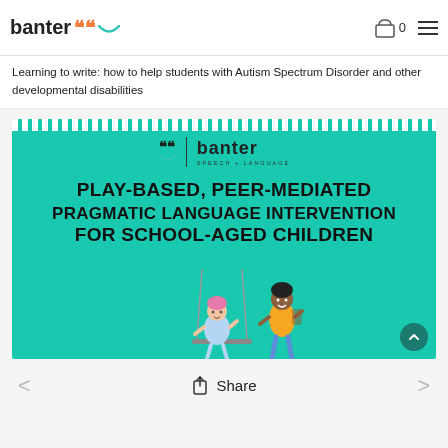banter | 0
Learning to write: how to help students with Autism Spectrum Disorder and other developmental disabilities
[Figure (infographic): Teal/turquoise card with dotted top border. Shows banter speech+language logo at top, then large bold uppercase text: PLAY-BASED, PEER-MEDIATED PRAGMATIC LANGUAGE INTERVENTION FOR SCHOOL-AGED CHILDREN. Bottom portion has illustrated children on a swing set.]
Share